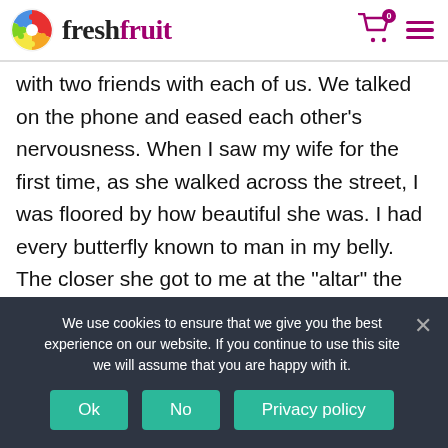freshfruit
with two friends with each of us. We talked on the phone and eased each other’s nervousness. When I saw my wife for the first time, as she walked across the street, I was floored by how beautiful she was. I had every butterfly known to man in my belly. The closer she got to me at the “altar” the more and more I was excited to say, “I do.” I really just wanted to rush the rest of the ceremony. We took wedding pics on the mural, had a rooftop toast at Trailer Park Group’s building across the street. Then we went to her sister’s house in Compton for a mini reception.
We use cookies to ensure that we give you the best experience on our website. If you continue to use this site we will assume that you are happy with it.